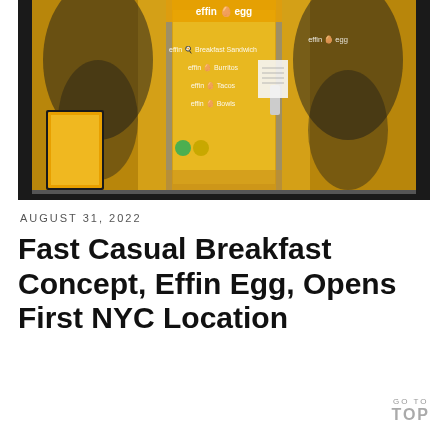[Figure (photo): Exterior storefront of Effin Egg restaurant showing glass door with menu items listed: Effin Breakfast Sandwich, Effin Burritos, Effin Tacos, Effin Bowls, with yellow and black interior decor visible, a sandwich board sign to the left]
AUGUST 31, 2022
Fast Casual Breakfast Concept, Effin Egg, Opens First NYC Location
GO TO TOP